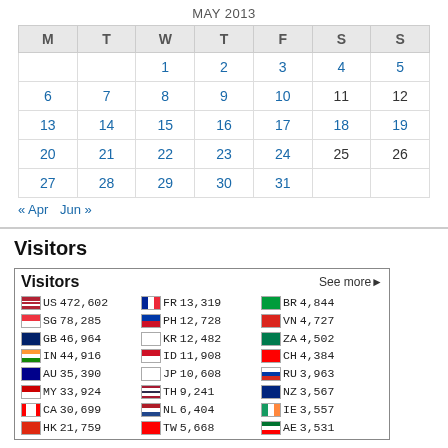| M | T | W | T | F | S | S |
| --- | --- | --- | --- | --- | --- | --- |
|  |  | 1 | 2 | 3 | 4 | 5 |
| 6 | 7 | 8 | 9 | 10 | 11 | 12 |
| 13 | 14 | 15 | 16 | 17 | 18 | 19 |
| 20 | 21 | 22 | 23 | 24 | 25 | 26 |
| 27 | 28 | 29 | 30 | 31 |  |  |
« Apr   Jun »
Visitors
| Country | Count | Country | Count | Country | Count |
| --- | --- | --- | --- | --- | --- |
| US | 472,602 | FR | 13,319 | BR | 4,844 |
| SG | 78,285 | PH | 12,728 | VN | 4,727 |
| GB | 46,964 | KR | 12,482 | ZA | 4,502 |
| IN | 44,916 | ID | 11,908 | CH | 4,384 |
| AU | 35,390 | JP | 10,608 | RU | 3,963 |
| MY | 33,924 | TH | 9,241 | NZ | 3,567 |
| CA | 30,699 | NL | 6,404 | IE | 3,557 |
| HK | 21,759 | TW | 5,668 | AE | 3,531 |